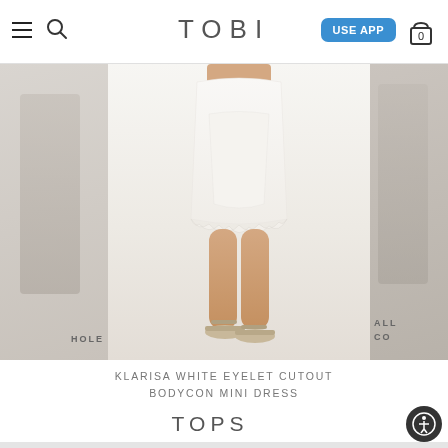TOBI — USE APP — [cart: 0]
[Figure (photo): E-commerce product page screenshot of Tobi website showing a model wearing a white eyelet cutout bodycon mini dress with ruffled hem and slide sandals. Partial images of adjacent products visible on left and right sides of carousel.]
KLARISA WHITE EYELET CUTOUT BODYCON MINI DRESS
TOPS